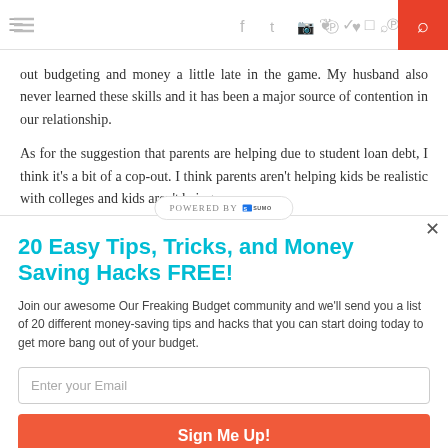≡   f  ✓  ◻  ℗  ♥  ⌂   🔍
out budgeting and money a little late in the game. My husband also never learned these skills and it has been a major source of contention in our relationship.
As for the suggestion that parents are helping due to student loan debt, I think it's a bit of a cop-out. I think parents aren't helping kids be realistic with colleges and kids aren't being
20 Easy Tips, Tricks, and Money Saving Hacks FREE!
Join our awesome Our Freaking Budget community and we'll send you a list of 20 different money-saving tips and hacks that you can start doing today to get more bang out of your budget.
Enter your Email
Sign Me Up!